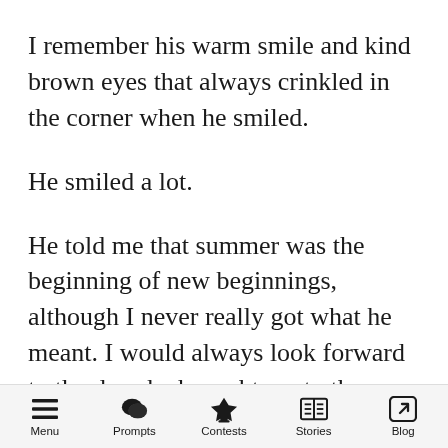I remember his warm smile and kind brown eyes that always crinkled in the corner when he smiled.
He smiled a lot.
He told me that summer was the beginning of new beginnings, although I never really got what he meant. I would always look forward to the days he brought me to the beach, with a cooler filled with lemonade nestled in ice cubes. A small
Menu  Prompts  Contests  Stories  Blog